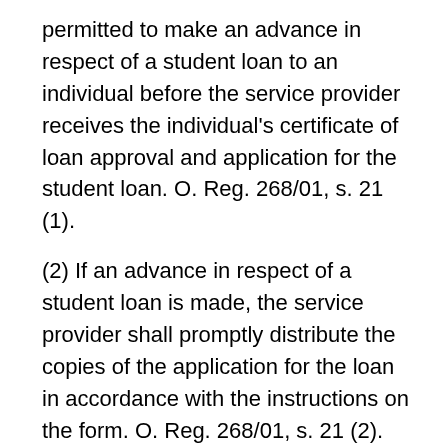permitted to make an advance in respect of a student loan to an individual before the service provider receives the individual's certificate of loan approval and application for the student loan. O. Reg. 268/01, s. 21 (1).
(2) If an advance in respect of a student loan is made, the service provider shall promptly distribute the copies of the application for the loan in accordance with the instructions on the form. O. Reg. 268/01, s. 21 (2).
Duty to give notice of material change in circumstances
22. (1) An individual who enters into a student loan agreement is required to promptly notify the Minister or such person or entity as may be designated by the Minister for the purpose of this